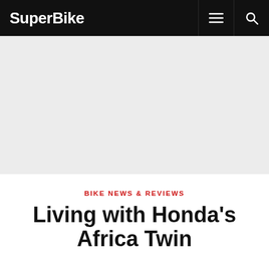SuperBike
[Figure (other): Light grey hero/banner placeholder area below the navigation bar]
BIKE NEWS & REVIEWS
Living with Honda's Africa Twin